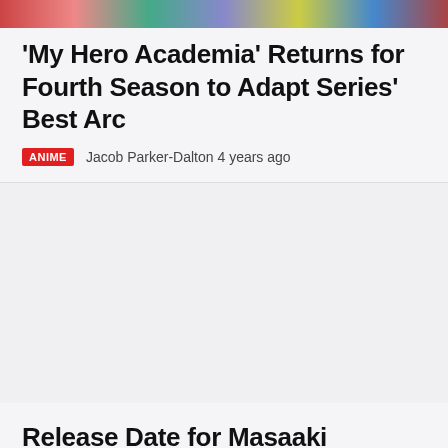[Figure (photo): Colorful anime-style image strip at the top of the page]
'My Hero Academia' Returns for Fourth Season to Adapt Series' Best Arc
ANIME   Jacob Parker-Dalton 4 years ago
Release Date for Masaaki Yuasa's 'Kimi to, Nami ni Noretara' Revealed